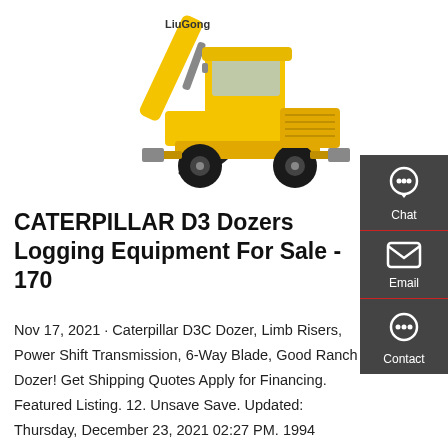[Figure (photo): Yellow LiuGong wheeled excavator with black bucket attachment, on white background]
CATERPILLAR D3 Dozers Logging Equipment For Sale - 170
Nov 17, 2021 · Caterpillar D3C Dozer, Limb Risers, Power Shift Transmission, 6-Way Blade, Good Ranch Dozer! Get Shipping Quotes Apply for Financing. Featured Listing. 12. Unsave Save. Updated: Thursday, December 23, 2021 02:27 PM. 1994 CATERPILLAR D3C LGP III. Crawler Dozers. Price: